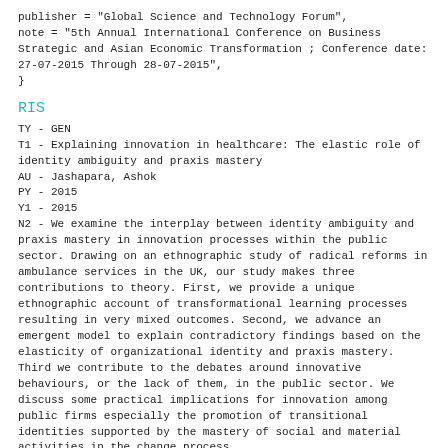publisher = "Global Science and Technology Forum",
note = "5th Annual International Conference on Business Strategic and Asian Economic Transformation ; Conference date: 27-07-2015 Through 28-07-2015",
}
RIS
TY - GEN
T1 - Explaining innovation in healthcare: The elastic role of identity ambiguity and praxis mastery
AU - Jashapara, Ashok
PY - 2015
Y1 - 2015
N2 - We examine the interplay between identity ambiguity and praxis mastery in innovation processes within the public sector. Drawing on an ethnographic study of radical reforms in ambulance services in the UK, our study makes three contributions to theory. First, we provide a unique ethnographic account of transformational learning processes resulting in very mixed outcomes. Second, we advance an emergent model to explain contradictory findings based on the elasticity of organizational identity and praxis mastery. Third we contribute to the debates around innovative behaviours, or the lack of them, in the public sector. We discuss some practical implications for innovation among public firms especially the promotion of transitional identities supported by the mastery of social and material activities in the change process.
AB - We examine the interplay between identity ambiguity and praxis mastery in innovation processes within the public sector. Drawing on an ethnographic study of radical reforms in ambulance services in the UK, our study makes three contributions to theory. First, we provide a unique